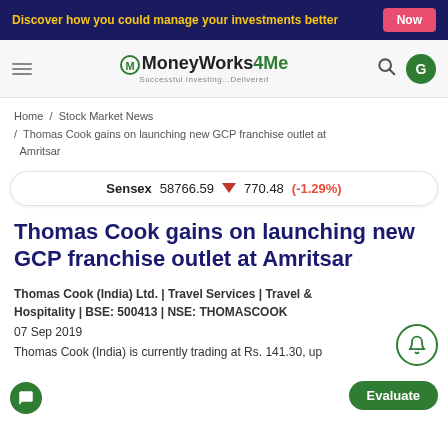Discover how you could manage your investments better | Now
MoneyWorks4Me — Successful Investing...Delivered
Home / Stock Market News / Thomas Cook gains on launching new GCP franchise outlet at Amritsar
Sensex 58766.59 ▼ 770.48 (-1.29%)
Thomas Cook gains on launching new GCP franchise outlet at Amritsar
Thomas Cook (India) Ltd. | Travel Services | Travel & Hospitality | BSE: 500413 | NSE: THOMASCOOK
07 Sep 2019
Thomas Cook (India) is currently trading at Rs. 141.30, up